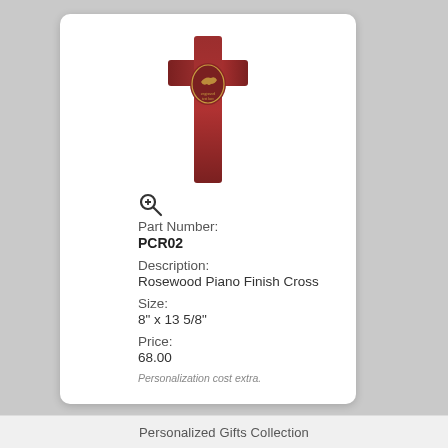[Figure (photo): A rosewood piano finish cross with an oval emblem in the center showing a dove design and engraved text. The cross is dark reddish-brown with a glossy finish.]
Part Number:
PCR02
Description:
Rosewood Piano Finish Cross
Size:
8" x 13 5/8"
Price:
68.00
Personalization cost extra.
Personalized Gifts Collection